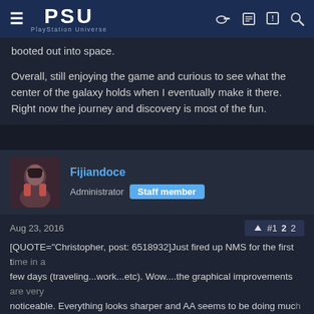PSU PlayStation Universe
booted out into space.
Overall, still enjoying the game and curious to see what the center of the galaxy holds when I eventually make it there. Right now the journey and discovery is most of the fun.
Fijiandoce
Administrator  Staff member
Aug 23, 2016  #122
[QUOTE="Christopher, post: 6518932]Just fired up NMS for the first time in a few days (traveling...work...etc). Wow....the graphical improvements are very noticeable. Everything looks sharper and AA seems to be doing much better. Nice to see.[/QUOTE]
I wish the PC could get an option to fix th... skinny twigs right now until you get clos...
[Figure (screenshot): Video overlay showing Yakuza creator Toshihiro Nagoshi with SEGA branding and caption 'YAKUZA CREATOR TOSHIHIRO NAGOSHI SPOKE ABOUT HIS NEXT PROJECT']
Outside that, the PC's performance has... seldom get those hitches I used to get... doing the DX thing where you're exploring...